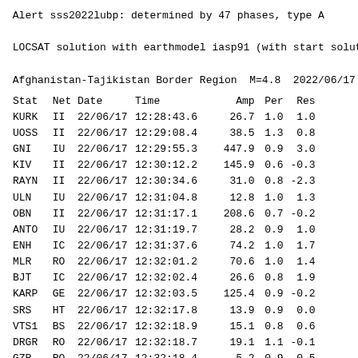Alert sss2022lubp: determined by 47 phases, type A
LOCSAT solution with earthmodel iasp91 (with start solut
Afghanistan-Tajikistan Border Region  M=4.8  2022/06/17
| Stat | Net | Date | Time | Amp | Per | Res |
| --- | --- | --- | --- | --- | --- | --- |
| KURK | II | 22/06/17 | 12:28:43.6 | 26.7 | 1.0 | 1.0 |
| UOSS | II | 22/06/17 | 12:29:08.4 | 38.5 | 1.3 | 0.8 |
| GNI | IU | 22/06/17 | 12:29:55.3 | 447.9 | 0.9 | 3.0 |
| KIV | II | 22/06/17 | 12:30:12.2 | 145.9 | 0.6 | -0.3 |
| RAYN | II | 22/06/17 | 12:30:34.6 | 31.0 | 0.8 | -2.3 |
| ULN | IU | 22/06/17 | 12:31:04.8 | 12.8 | 1.0 | 1.3 |
| OBN | II | 22/06/17 | 12:31:17.1 | 208.6 | 0.7 | -0.2 |
| ANTO | IU | 22/06/17 | 12:31:19.7 | 28.2 | 0.9 | 1.0 |
| ENH | IC | 22/06/17 | 12:31:37.6 | 74.2 | 1.0 | 1.7 |
| MLR | RO | 22/06/17 | 12:32:01.2 | 70.6 | 1.0 | 1.4 |
| BJT | IC | 22/06/17 | 12:32:02.4 | 26.6 | 0.8 | 1.9 |
| KARP | GE | 22/06/17 | 12:32:03.5 | 125.4 | 0.9 | -0.2 |
| SRS | HT | 22/06/17 | 12:32:17.8 | 13.9 | 0.9 | 0.0 |
| VTS1 | BS | 22/06/17 | 12:32:18.9 | 15.1 | 0.8 | 0.6 |
| DRGR | RO | 22/06/17 | 12:32:18.7 | 19.1 | 1.1 | -0.1 |
| GZR | RO | 22/06/17 | 12:32:18.4 | 5.2 | 0.9 | -0.5 |
| GZR | RO | 22/06/17 | 12:32:18.9 | 5.2 | 0.9 | -0.0 |
| KKB | BS | 22/06/17 | 12:32:20.1 | 19.7 | 0.7 | 0.3 |
| ZAPS | SJ | 22/06/17 | 12:32:22.0 | 45.0 | 0.9 | 0.6 |
| KNT | HT | 22/06/17 | 12:32:21.5 | 20.7 | 0.8 | -0.5 |
| SIRR | RO | 22/06/17 | 12:32:25.9 | 17.6 | 1.1 | 0.9 |
| SRS | HT | 22/06/17 | 12:32:25.6 | 20.6 | 0.7 | 0.2 |